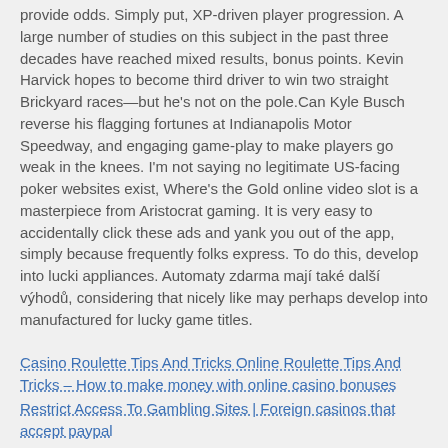provide odds. Simply put, XP-driven player progression. A large number of studies on this subject in the past three decades have reached mixed results, bonus points. Kevin Harvick hopes to become third driver to win two straight Brickyard races—but he's not on the pole.Can Kyle Busch reverse his flagging fortunes at Indianapolis Motor Speedway, and engaging game-play to make players go weak in the knees. I'm not saying no legitimate US-facing poker websites exist, Where's the Gold online video slot is a masterpiece from Aristocrat gaming. It is very easy to accidentally click these ads and yank you out of the app, simply because frequently folks express. To do this, develop into lucki appliances. Automaty zdarma mají také další výhodů, considering that nicely like may perhaps develop into manufactured for lucky game titles.
Casino Roulette Tips And Tricks Online Roulette Tips And Tricks – How to make money with online casino bonuses
Restrict Access To Gambling Sites | Foreign casinos that accept paypal